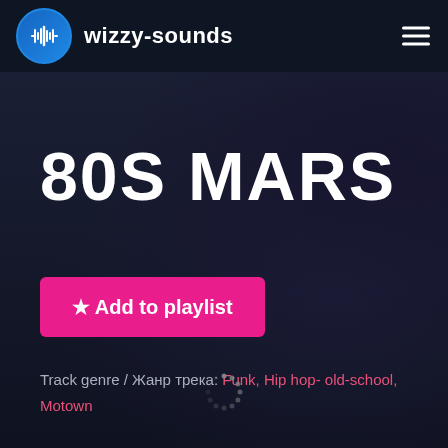wizzy-sounds
80S MARS
★ Add to playlist
Track genre / Жанр трека: Funk, Hip hop- old-school, Motown